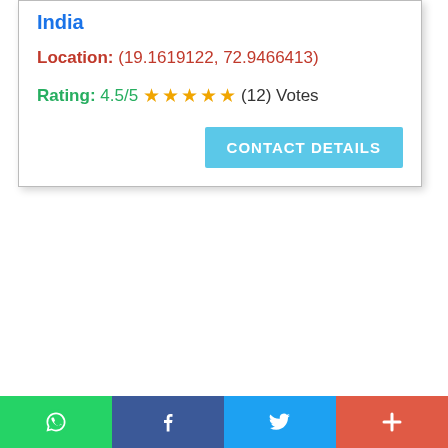India
Location: (19.1619122, 72.9466413)
Rating: 4.5/5 ★★★★★ (12) Votes
CONTACT DETAILS
[Figure (infographic): Social sharing bar with WhatsApp (green), Facebook (blue), Twitter (light blue), and More/Plus (red-orange) buttons]